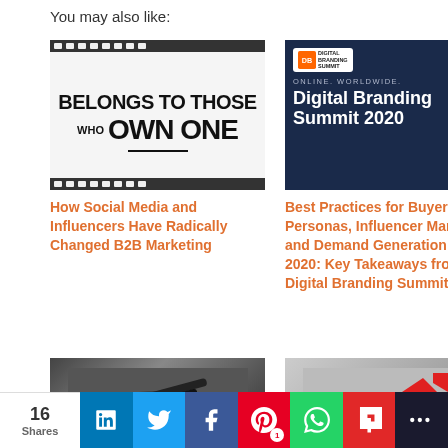You may also like:
[Figure (photo): Film strip style image with text: BELONGS TO THOSE WHO OWN ONE]
How Social Media and Influencers Have Radically Changed B2B Marketing
[Figure (photo): Digital Branding Summit 2020 banner - dark blue background with logo and text: ONLINE. WORLDWIDE. Digital Branding Summit 2020]
Best Practices for Buyer Personas, Influencer Marketing, and Demand Generation in 2020: Key Takeaways from the Digital Branding Summit
[Figure (photo): Dark background image of a pen on paper]
[Figure (photo): Image with red arrow pointing up-right]
16 Shares
[Figure (infographic): Social sharing bar with LinkedIn, Twitter, Facebook, Pinterest (1), WhatsApp, Flipboard, and another share button]